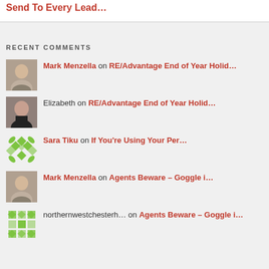Send To Every Lead…
RECENT COMMENTS
Mark Menzella on RE/Advantage End of Year Holid…
Elizabeth on RE/Advantage End of Year Holid…
Sara Tiku on If You're Using Your Per…
Mark Menzella on Agents Beware – Goggle i…
northernwestchesterh… on Agents Beware – Goggle i…